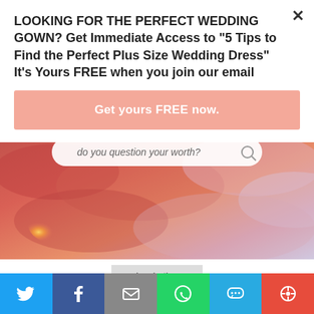LOOKING FOR THE PERFECT WEDDING GOWN? Get Immediate Access to "5 Tips to Find the Perfect Plus Size Wedding Dress" It's Yours FREE when you join our email
Get yours FREE now.
[Figure (photo): Dramatic pink and orange sunset sky with clouds and a search bar overlay reading 'do you question your worth?']
Inspiration
Ways To Boost Your Self Esteem After Making Bad